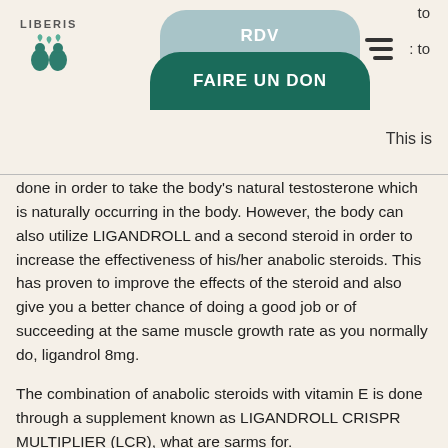LIBERIS | RDV | FAIRE UN DON
This is done in order to take the body's natural testosterone which is naturally occurring in the body. However, the body can also utilize LIGANDROLL and a second steroid in order to increase the effectiveness of his/her anabolic steroids. This has proven to improve the effects of the steroid and also give you a better chance of doing a good job or of succeeding at the same muscle growth rate as you normally do, ligandrol 8mg.
The combination of anabolic steroids with vitamin E is done through a supplement known as LIGANDROLL CRISPR MULTIPLIER (LCR), what are sarms for.
Ligandrol side effects
Ligandrol is often compared to steroids like